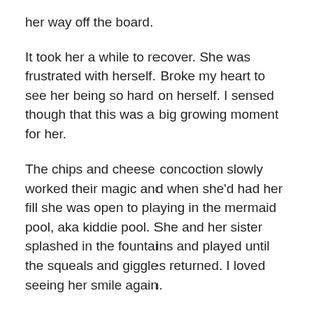her way off the board.
It took her a while to recover. She was frustrated with herself. Broke my heart to see her being so hard on herself. I sensed though that this was a big growing moment for her.
The chips and cheese concoction slowly worked their magic and when she'd had her fill she was open to playing in the mermaid pool, aka kiddie pool. She and her sister splashed in the fountains and played until the squeals and giggles returned. I loved seeing her smile again.
After a while she was ready to go again.
Eloise went first. Perfect canon ball. Then came Avery. This time there was no hesitation. Just sheer resolve. Once she got on the board she never even paused. One,